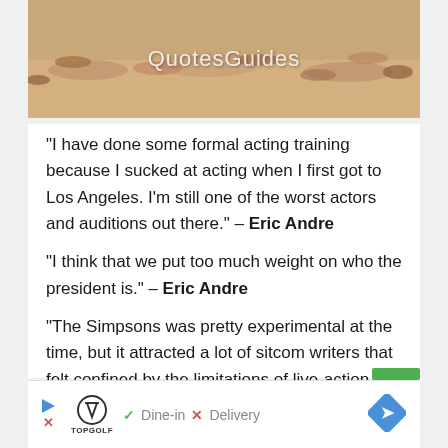[Figure (photo): Beach scene with people sunbathing, with QuotesGuides watermark overlay]
“I have done some formal acting training because I sucked at acting when I first got to Los Angeles. I’m still one of the worst actors and auditions out there.” – Eric Andre
“I think that we put too much weight on who the president is.” – Eric Andre
“The Simpsons was pretty experimental at the time, but it attracted a lot of sitcom writers that felt confined by the limitations of live-action sitcoms in the ’80s.” –
[Figure (infographic): Advertisement banner: TopGolf ad with Dine-in checkmark and Delivery X mark, and blue navigation arrow diamond icon]